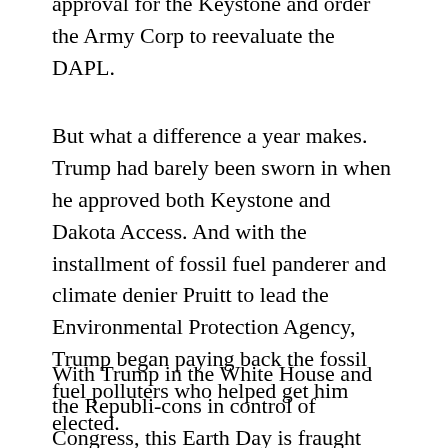approval for the Keystone and order the Army Corp to reevaluate the DAPL.
But what a difference a year makes. Trump had barely been sworn in when he approved both Keystone and Dakota Access. And with the installment of fossil fuel panderer and climate denier Pruitt to lead the Environmental Protection Agency, Trump began paying back the fossil fuel polluters who helped get him elected.
With Trump in the White House and the Republi-cons in control of Congress, this Earth Day is fraught with ominous clouds. The Donald wants to slash the EPA budget by 30%.